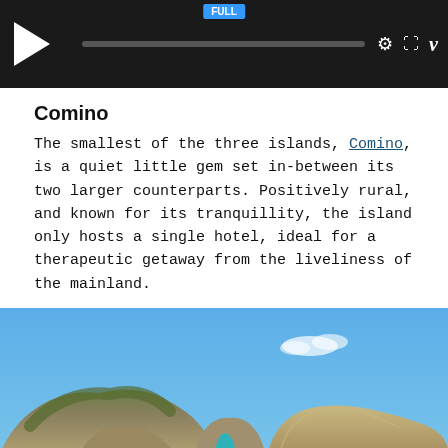[Figure (screenshot): Video player with dark background, play button, progress bar, and control icons (gear, expand, Vimeo logo)]
Comino
The smallest of the three islands, Comino, is a quiet little gem set in-between its two larger counterparts. Positively rural, and known for its tranquillity, the island only hosts a single hotel, ideal for a therapeutic getaway from the liveliness of the mainland.
[Figure (photo): Photograph of Comino island showing rocky limestone cliffs and hills with turquoise blue sea water in the foreground under a clear blue sky]